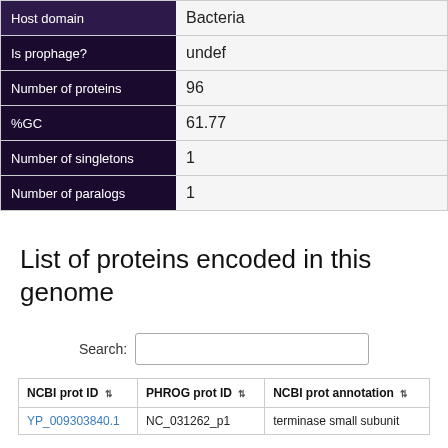| Key | Value |
| --- | --- |
| Host domain | Bacteria |
| Is prophage? | undef |
| Number of proteins | 96 |
| %GC | 61.77 |
| Number of singletons | 1 |
| Number of paralogs | 1 |
List of proteins encoded in this genome
Search:
| NCBI prot ID | PHROG prot ID | NCBI prot annotation |
| --- | --- | --- |
| YP_009303840.1 | NC_031262_p1 | terminase small subunit |